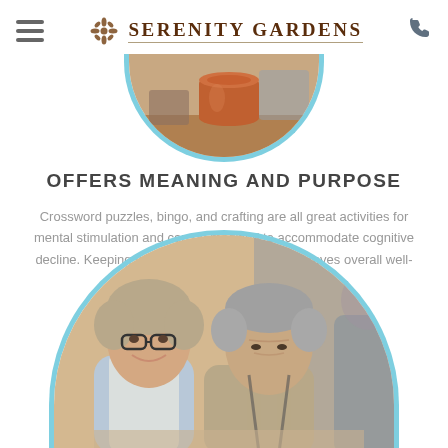Serenity Gardens
[Figure (photo): Circular cropped photo of pottery/crafts, shown as bottom half of circle at top of page]
OFFERS MEANING AND PURPOSE
Crossword puzzles, bingo, and crafting are all great activities for mental stimulation and can be modified to accommodate cognitive decline. Keeping the mind sharp and active improves overall well-being.
[Figure (photo): Circular cropped photo of two elderly people (a woman with glasses smiling and an older man) looking down together, possibly at a puzzle or activity]